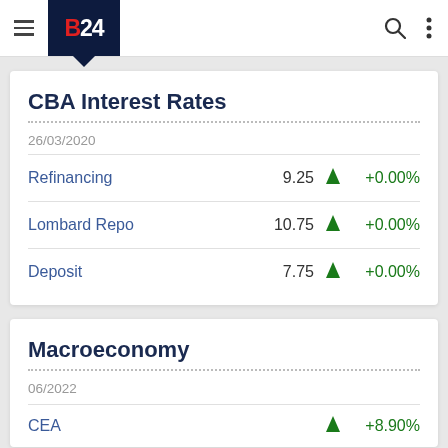B24 navigation bar
CBA Interest Rates
26/03/2020
|  | Value |  | Change |
| --- | --- | --- | --- |
| Refinancing | 9.25 | ▲ | +0.00% |
| Lombard Repo | 10.75 | ▲ | +0.00% |
| Deposit | 7.75 | ▲ | +0.00% |
Macroeconomy
06/2022
CEA  ▲  +8.90%